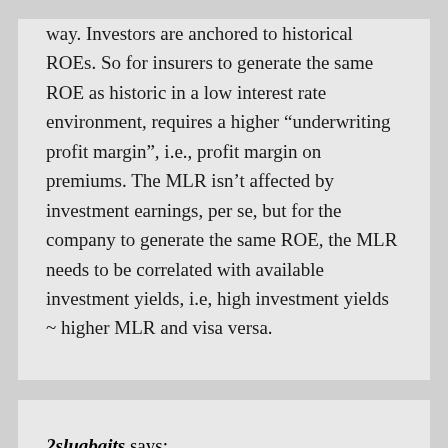way. Investors are anchored to historical ROEs. So for insurers to generate the same ROE as historic in a low interest rate environment, requires a higher “underwriting profit margin”, i.e., profit margin on premiums. The MLR isn’t affected by investment earnings, per se, but for the company to generate the same ROE, the MLR needs to be correlated with available investment yields, i.e, high investment yields ~ higher MLR and visa versa.
2slugbaits says: December 17, 2009 at 12:12 am
CoRev,
this bill significantly raises costs, through tax increases, reduced competition, and increasing risk